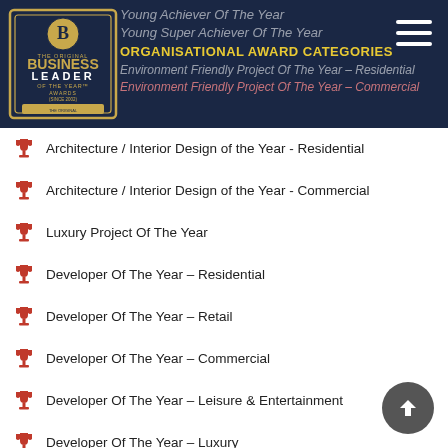[Figure (logo): The Original Business Leader of the Year Awards logo — dark navy header with gold and white badge]
Architecture / Interior Design of the Year - Residential
Architecture / Interior Design of the Year - Commercial
Luxury Project Of The Year
Developer Of The Year – Residential
Developer Of The Year – Retail
Developer Of The Year – Commercial
Developer Of The Year – Leisure & Entertainment
Developer Of The Year – Luxury
Developer Of The Year – Plots & Shelters Awards
Property Consultant Of The Year
Real Estate Banker Of The Year